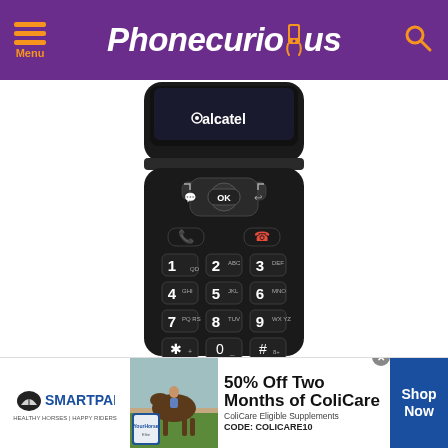Phonecurious - Menu / Search
[Figure (photo): Alcatel flip phone open, showing keypad with number keys 1-9, *, 0, #, OK button, back button, call and end call buttons. Phone is black with white text on keys.]
[Figure (photo): SmartPak advertisement banner: 50% Off Two Months of ColiCare, ColiCare Eligible Supplements, CODE: COLICARE10, with horse and rider image and SmartPak logo. Shop Now button.]